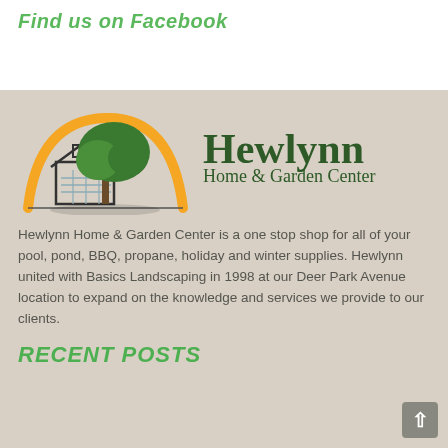Find us on Facebook
[Figure (logo): Hewlynn Home & Garden Center logo: a house outline with a large green tree and an orange arc, with text 'Hewlynn Home & Garden Center']
Hewlynn Home & Garden Center is a one stop shop for all of your pool, pond, BBQ, propane, holiday and winter supplies. Hewlynn united with Basics Landscaping in 1998 at our Deer Park Avenue location to expand on the knowledge and services we provide to our clients.
RECENT POSTS